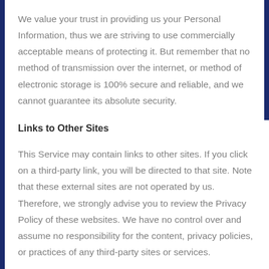We value your trust in providing us your Personal Information, thus we are striving to use commercially acceptable means of protecting it. But remember that no method of transmission over the internet, or method of electronic storage is 100% secure and reliable, and we cannot guarantee its absolute security.
Links to Other Sites
This Service may contain links to other sites. If you click on a third-party link, you will be directed to that site. Note that these external sites are not operated by us. Therefore, we strongly advise you to review the Privacy Policy of these websites. We have no control over and assume no responsibility for the content, privacy policies, or practices of any third-party sites or services.